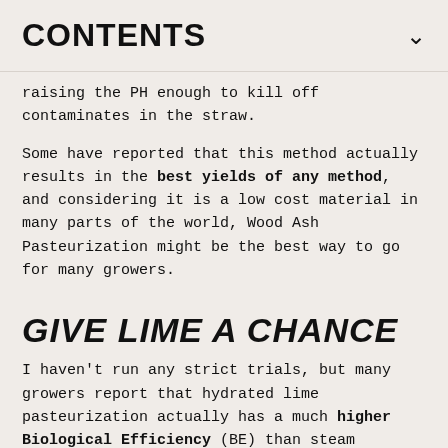CONTENTS
raising the PH enough to kill off contaminates in the straw.
Some have reported that this method actually results in the best yields of any method, and considering it is a low cost material in many parts of the world, Wood Ash Pasteurization might be the best way to go for many growers.
GIVE LIME A CHANCE
I haven't run any strict trials, but many growers report that hydrated lime pasteurization actually has a much higher Biological Efficiency (BE) than steam